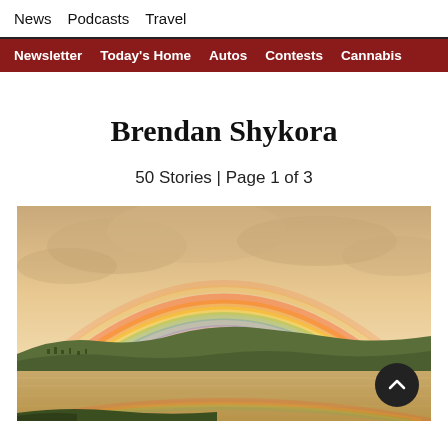News  Podcasts  Travel
Newsletter  Today's Home  Autos  Contests  Cannabis
Brendan Shykora
50 Stories | Page 1 of 3
[Figure (photo): A panoramic landscape photo showing a large double rainbow arching over a calm lake with rolling hills in the background under a warm golden-pink sky.]